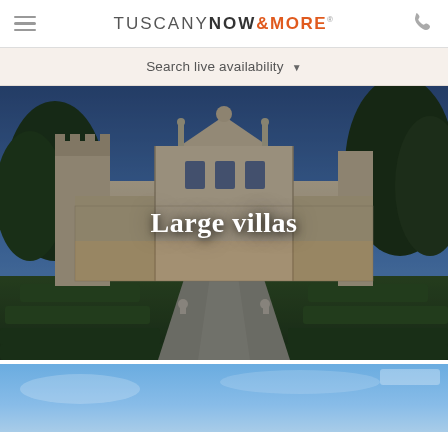TUSCANY NOW & MORE®
Search live availability
[Figure (photo): Large Italian villa at dusk with ornate baroque facade illuminated from within, surrounded by formal garden with manicured hedges and a central path leading to the entrance. Text overlay reads 'Large villas'.]
[Figure (photo): Partial view of a second property image showing a blue sky, cropped at the bottom of the page.]